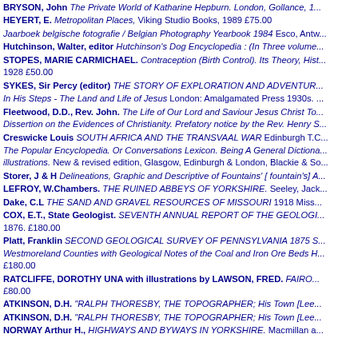BRYSON, John The Private World of Katharine Hepburn. London, Gollance, 1...
HEYERT, E. Metropolitan Places, Viking Studio Books, 1989 £75.00
Jaarboek belgische fotografie / Belgian Photography Yearbook 1984 Esco, Antw...
Hutchinson, Walter, editor Hutchinson's Dog Encyclopedia : (In Three volume...
STOPES, MARIE CARMICHAEL. Contraception (Birth Control). Its Theory, Hist... 1928 £50.00
SYKES, Sir Percy (editor) THE STORY OF EXPLORATION AND ADVENTUR...
In His Steps - The Land and Life of Jesus London: Amalgamated Press 1930s. ...
Fleetwood, D.D., Rev. John. The Life of Our Lord and Saviour Jesus Christ To... Dissertion on the Evidences of Christianity. Prefatory notice by the Rev. Henry S...
Creswicke Louis SOUTH AFRICA AND THE TRANSVAAL WAR Edinburgh T.C...
The Popular Encyclopedia. Or Conversations Lexicon. Being A General Dictiona... illustrations. New & revised edition, Glasgow, Edinburgh & London, Blackie & So...
Storer, J & H Delineations, Graphic and Descriptive of Fountains' [ fountain's] A...
LEFROY, W.Chambers. THE RUINED ABBEYS OF YORKSHIRE. Seeley, Jack...
Dake, C.L THE SAND AND GRAVEL RESOURCES OF MISSOURI 1918 Miss...
COX, E.T., State Geologist. SEVENTH ANNUAL REPORT OF THE GEOLOGI... 1876. £180.00
Platt, Franklin SECOND GEOLOGICAL SURVEY OF PENNSYLVANIA 1875 S... Westmoreland Counties with Geological Notes of the Coal and Iron Ore Beds H... £180.00
RATCLIFFE, DOROTHY UNA with illustrations by LAWSON, FRED. FAIRO... £80.00
ATKINSON, D.H. "RALPH THORESBY, THE TOPOGRAPHER; His Town [Lee...
ATKINSON, D.H. "RALPH THORESBY, THE TOPOGRAPHER; His Town [Lee...
NORWAY Arthur H., HIGHWAYS AND BYWAYS IN YORKSHIRE. Macmillan a...